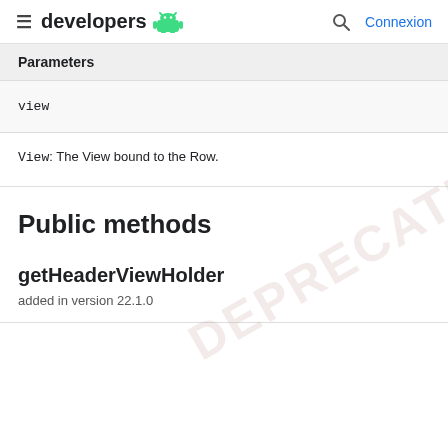developers (Android logo) | Search | Connexion
| Parameters |
| --- |
| view |
View: The View bound to the Row.
Public methods
getHeaderViewHolder
added in version 22.1.0